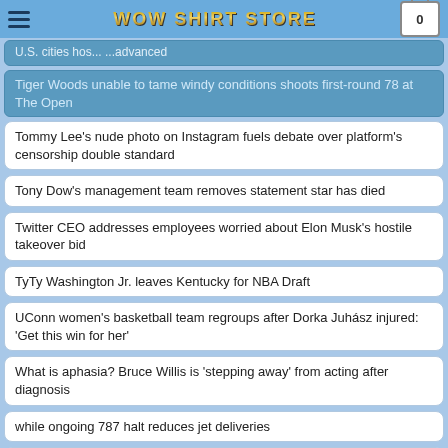WOW SHIRT STORE
Tiger Woods unable to tame windy conditions shoots first-round 78 at The Open
Tommy Lee's nude photo on Instagram fuels debate over platform's censorship double standard
Tony Dow's management team removes statement star has died
Twitter CEO addresses employees worried about Elon Musk's hostile takeover bid
TyTy Washington Jr. leaves Kentucky for NBA Draft
UConn women's basketball team regroups after Dorka Juhász injured: 'Get this win for her'
What is aphasia? Bruce Willis is 'stepping away' from acting after diagnosis
while ongoing 787 halt reduces jet deliveries
'The Flash' actor Ezra Miller arrested on Hawaii Island after incident at karaoke bar